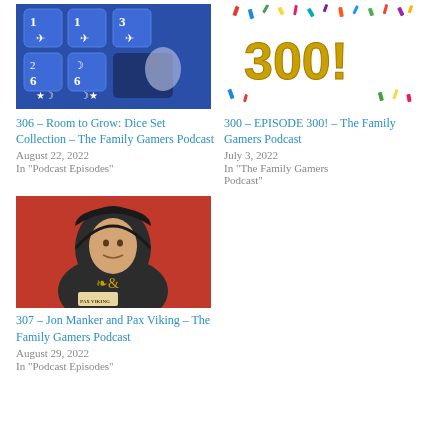[Figure (photo): Blue dice with moon and star symbols, numbers 1,2,3,6,6 visible, on blue background]
306 – Room to Grow: Dice Set Collection – The Family Gamers Podcast
August 22, 2022
In "Podcast Episodes"
[Figure (photo): Gold '300!' text with colorful confetti on white background]
300 – EPISODE 300! – The Family Gamers Podcast
July 3, 2022
In "The Family Gamers Podcast"
[Figure (photo): Person wearing a dark hooded cloak holding a box game (Pax Viking) against a red background]
307 – Jon Manker and Pax Viking – The Family Gamers Podcast
August 29, 2022
In "Podcast Episodes"